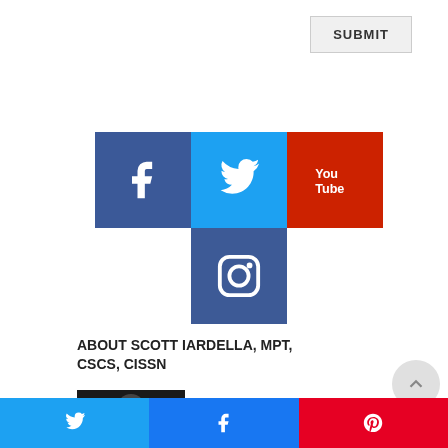SUBMIT
[Figure (infographic): Social media icon tiles: Facebook (blue), Twitter (light blue), YouTube (red), Instagram (dark blue) arranged in a 3x2 grid with Instagram centered below Twitter]
ABOUT SCOTT IARDELLA, MPT, CSCS, CISSN
[Figure (photo): Headshot photo of Scott Iardella]
Frustrated by the
[Figure (infographic): Share bar with Twitter, Facebook, and Pinterest buttons]